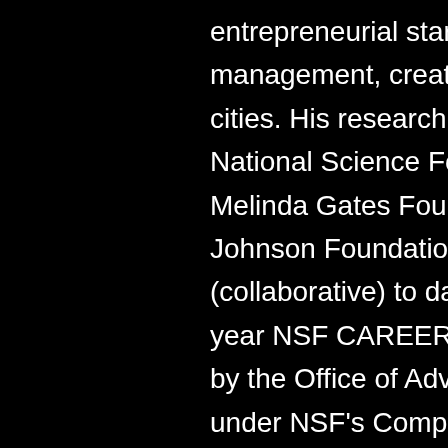entrepreneurial startups, natural disaster management, creative industries, and smart cities. His research has been funded by the US National Science Foundation (NSF), the Bill & Melinda Gates Foundation, and the Robert Wood Johnson Foundation, totaling over US$12M (collaborative) to date. He holds a prestigious 5-year NSF CAREER grant (2015-2021), awarded by the Office of Advanced Cyberinfrastructure under NSF's Computer & Information Science & Engineering Directorate. According to Google Scholar Citations in September 2021, his research has been cited more than 5,900 times.